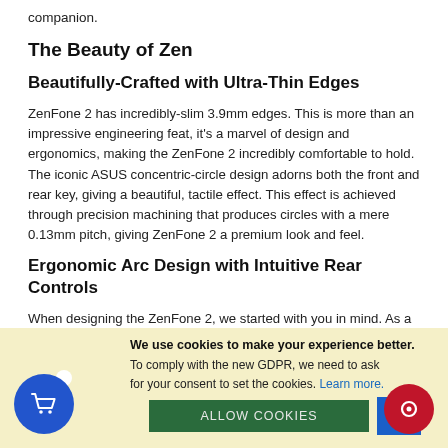companion.
The Beauty of Zen
Beautifully-Crafted with Ultra-Thin Edges
ZenFone 2 has incredibly-slim 3.9mm edges. This is more than an impressive engineering feat, it’s a marvel of design and ergonomics, making the ZenFone 2 incredibly comfortable to hold. The iconic ASUS concentric-circle design adorns both the front and rear key, giving a beautiful, tactile effect. This effect is achieved through precision machining that produces circles with a mere 0.13mm pitch, giving ZenFone 2 a premium look and feel.
Ergonomic Arc Design with Intuitive Rear Controls
When designing the ZenFone 2, we started with you in mind. As a result, ZenFone 2 has a highly-intuitive control layout, incorporating a physical rear key as part of the new Ergonomic Arc
We use cookies to make your experience better. To comply with the new GDPR, we need to ask for your consent to set the cookies. Learn more.